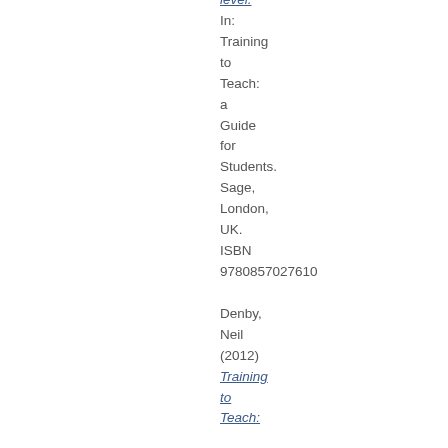level. In: Training to Teach: a Guide for Students. Sage, London, UK. ISBN 9780857027610

Denby, Neil (2012) Training to Teach: